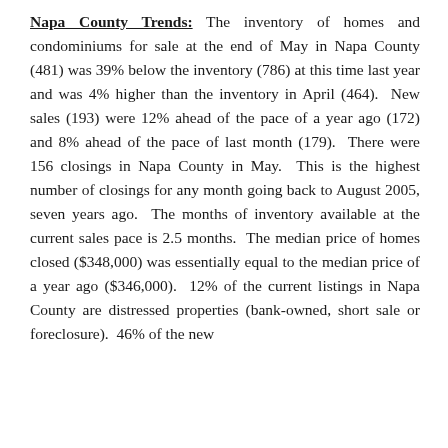Napa County Trends: The inventory of homes and condominiums for sale at the end of May in Napa County (481) was 39% below the inventory (786) at this time last year and was 4% higher than the inventory in April (464).  New sales (193) were 12% ahead of the pace of a year ago (172) and 8% ahead of the pace of last month (179).  There were 156 closings in Napa County in May.  This is the highest number of closings for any month going back to August 2005, seven years ago.  The months of inventory available at the current sales pace is 2.5 months.  The median price of homes closed ($348,000) was essentially equal to the median price of a year ago ($346,000).  12% of the current listings in Napa County are distressed properties (bank-owned, short sale or foreclosure).  46% of the new